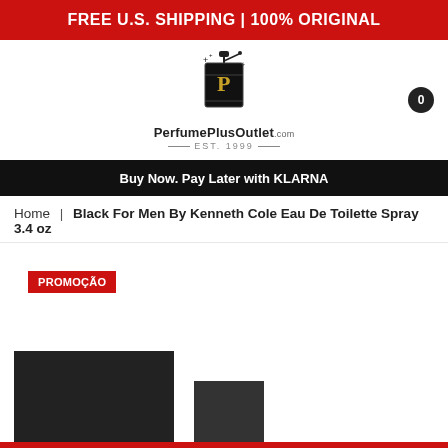FREE U.S. SHIPPING | 100% ORIGINAL
[Figure (logo): PerfumePlusOutlet.com EST. 1999 logo with perfume bottle icon]
Buy Now. Pay Later with KLARNA
Home | Black For Men By Kenneth Cole Eau De Toilette Spray 3.4 oz
PROMOÇÃO
[Figure (photo): Product photo of Black For Men By Kenneth Cole cologne bottles, partially visible at bottom of page]